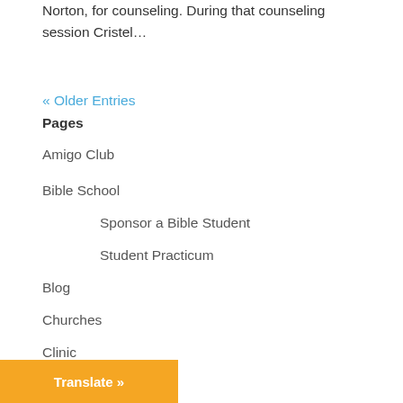Norton, for counseling. During that counseling session Cristel...
« Older Entries
Pages
Amigo Club
Bible School
Sponsor a Bible Student
Student Practicum
Blog
Churches
Clinic
Expansion
Internship
Short Term Teams
...edical Student
Translate »